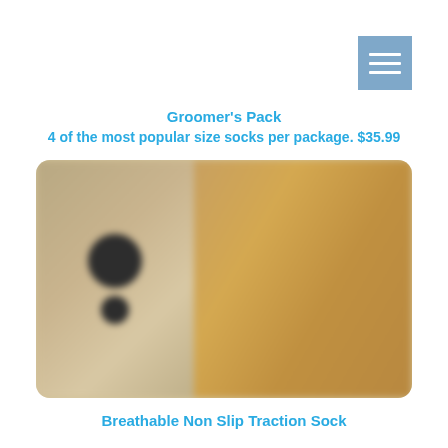[Figure (other): Menu/hamburger icon button with three white horizontal bars on a medium blue-gray square background, positioned in top-right corner]
Groomer's Pack
4 of the most popular size socks per package. $35.99
[Figure (photo): Blurred product photo showing dog socks/paw covers with dark circular paw print logos on a tan/beige background on the left, and a golden/tan dog on the right side]
Breathable Non Slip Traction Sock